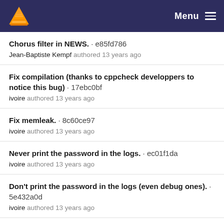Menu
Chorus filter in NEWS. · e85fd786
Jean-Baptiste Kempf authored 13 years ago
Fix compilation (thanks to cppcheck developpers to notice this bug) · 17ebc0bf
ivoire authored 13 years ago
Fix memleak. · 8c60ce97
ivoire authored 13 years ago
Never print the password in the logs. · ec01f1da
ivoire authored 13 years ago
Don't print the password in the logs (even debug ones). · 5e432a0d
ivoire authored 13 years ago
Remove dead increment. · c67fbb29